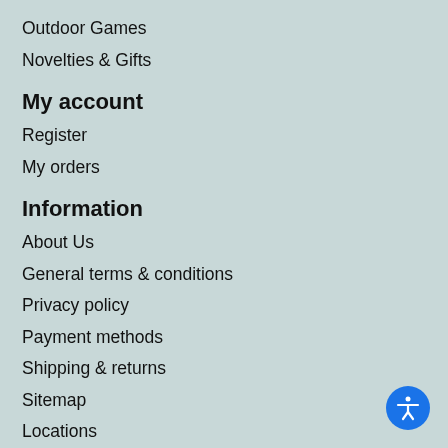Outdoor Games
Novelties & Gifts
My account
Register
My orders
Information
About Us
General terms & conditions
Privacy policy
Payment methods
Shipping & returns
Sitemap
Locations
Events
Rent-a-Game